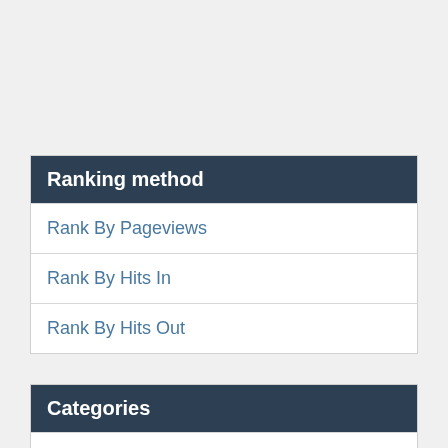Ranking method
Rank By Pageviews
Rank By Hits In
Rank By Hits Out
Categories
General Anime
Others
Pokemon